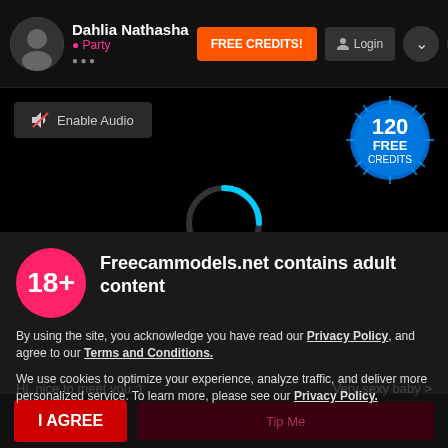Dahlia Nathasha • Party
FREE CREDITS!
Login
Enable Audio
[Figure (illustration): 120 FREE CREDITS badge with starburst effect]
[Figure (illustration): Loading spinner circle, partially cyan colored, indicating Connecting to Video]
Connecting to Video
18+
Freecammodels.net contains adult content
By using the site, you acknowledge you have read our Privacy Policy, and agree to our Terms and Conditions.
We use cookies to optimize your experience, analyze traffic, and deliver more personalized service. To learn more, please see our Privacy Policy.
I AGREE